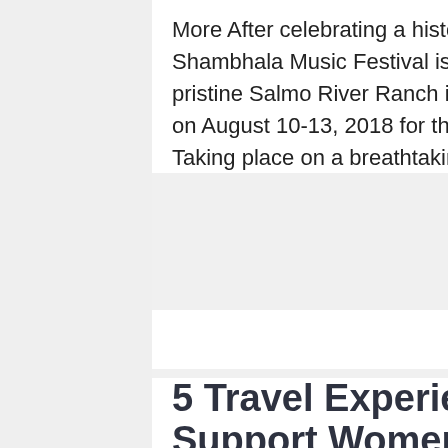More After celebrating a historic two decades last year, Shambhala Music Festival is excited to return to the pristine Salmo River Ranch in British Columbia, Canada on August 10-13, 2018 for the 21st annual edition. Taking place on a breathtaking family-run farm,...
Read More
5 Travel Experiences That Support Women